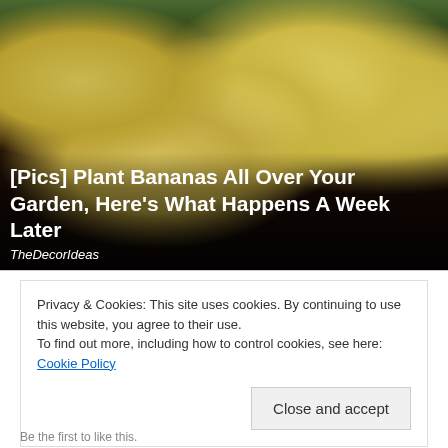[Figure (photo): Photo of banana peels or banana pieces planted upright in dark garden soil, with green plants visible in the background. Text overlay shows article title and source.]
[Pics] Plant Bananas All Over Your Garden, Here's What Happens A Week Later
TheDecorIdeas
Privacy & Cookies: This site uses cookies. By continuing to use this website, you agree to their use.
To find out more, including how to control cookies, see here: Cookie Policy
Close and accept
Be the first to like this.